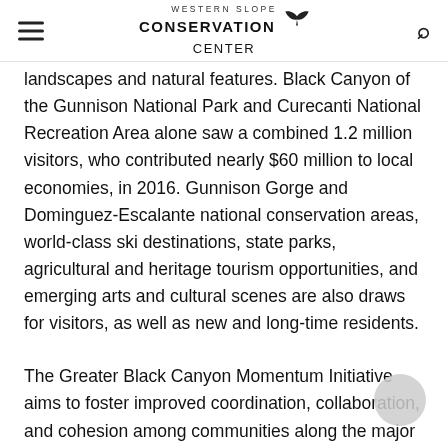Western Slope Conservation Center
landscapes and natural features. Black Canyon of the Gunnison National Park and Curecanti National Recreation Area alone saw a combined 1.2 million visitors, who contributed nearly $60 million to local economies, in 2016. Gunnison Gorge and Dominguez-Escalante national conservation areas, world-class ski destinations, state parks, agricultural and heritage tourism opportunities, and emerging arts and cultural scenes are also draws for visitors, as well as new and long-time residents.
The Greater Black Canyon Momentum Initiative aims to foster improved coordination, collaboration, and cohesion among communities along the major transportation corridors in Ouray, Gunnison,